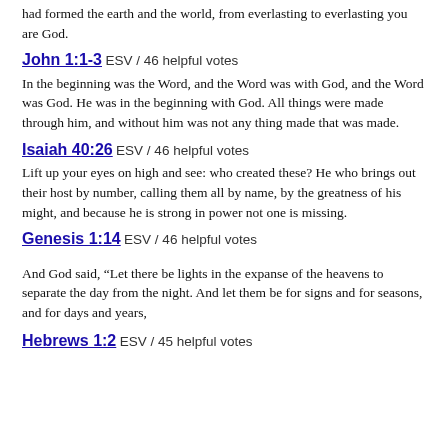had formed the earth and the world, from everlasting to everlasting you are God.
John 1:1-3 ESV / 46 helpful votes
In the beginning was the Word, and the Word was with God, and the Word was God. He was in the beginning with God. All things were made through him, and without him was not any thing made that was made.
Isaiah 40:26 ESV / 46 helpful votes
Lift up your eyes on high and see: who created these? He who brings out their host by number, calling them all by name, by the greatness of his might, and because he is strong in power not one is missing.
Genesis 1:14 ESV / 46 helpful votes
And God said, “Let there be lights in the expanse of the heavens to separate the day from the night. And let them be for signs and for seasons, and for days and years,
Hebrews 1:2 ESV / 45 helpful votes